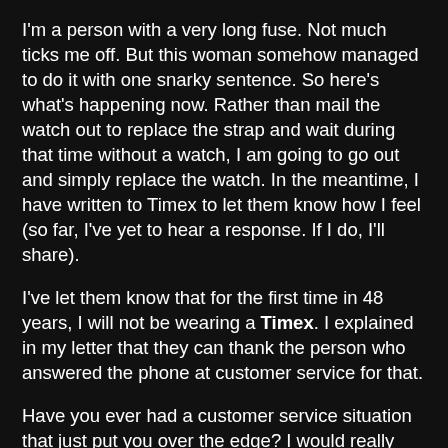I'm a person with a very long fuse. Not much ticks me off. But this woman somehow managed to do it with one snarky sentence. So here's what's happening now. Rather than mail the watch out to replace the strap and wait during that time without a watch, I am going to go out and simply replace the watch. In the meantime, I have written to Timex to let them know how I feel (so far, I've yet to hear a response. If I do, I'll share).
I've let them know that for the first time in 48 years, I will not be wearing a Timex. I explained in my letter that they can thank the person who answered the phone at customer service for that.
Have you ever had a customer service situation that just put you over the edge? I would really like to hear your story. And just to make sure that this doesn't turn into a complete "bitching-fest" I would also love to hear from people who have had wonderful dealings with customer service.
I'm hoping that my faith in humanity, consumer confidence